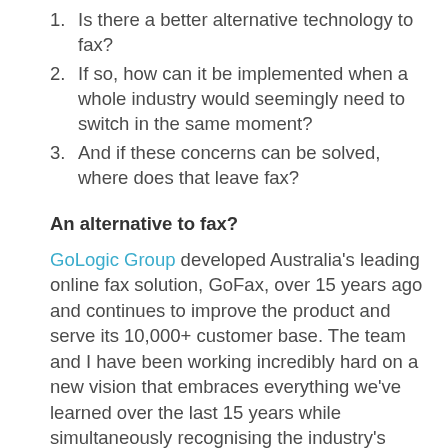1. Is there a better alternative technology to fax?
2. If so, how can it be implemented when a whole industry would seemingly need to switch in the same moment?
3. And if these concerns can be solved, where does that leave fax?
An alternative to fax?
GoLogic Group developed Australia's leading online fax solution, GoFax, over 15 years ago and continues to improve the product and serve its 10,000+ customer base. The team and I have been working incredibly hard on a new vision that embraces everything we've learned over the last 15 years while simultaneously recognising the industry's evolving requirements.
We bucked trends to move the industry from physical fax hardware to cloud based fax solutions, so, it won't be a surprise to our many loyal